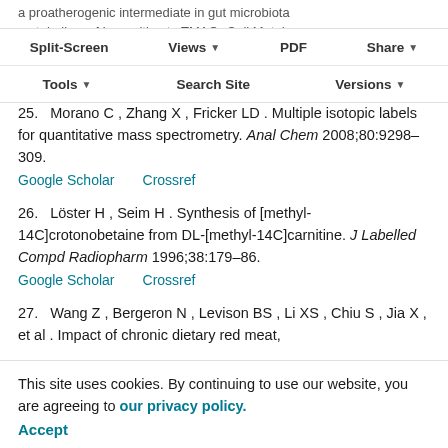a proatherogenic intermediate in gut microbiota metabolism of L-carnitine to TMAO. Cell Metab 2014;20:799–812.
[Toolbar: Split-Screen | Views | PDF | Share | Tools | Search Site | Versions]
25. Morano C , Zhang X , Fricker LD . Multiple isotopic labels for quantitative mass spectrometry. Anal Chem 2008;80:9298–309.
26. Löster H , Seim H . Synthesis of [methyl-14C]crotonobetaine from DL-[methyl-14C]carnitine. J Labelled Compd Radiopharm 1996;38:179–86.
27. Wang Z , Bergeron N , Levison BS , Li XS , Chiu S , Jia X , et al . Impact of chronic dietary red meat, white meat, or non-meat protein on trimethylamine N-oxide levels and the gut microbiome in healthy men and women. Eur Heart J 2019;40:583–94.
This site uses cookies. By continuing to use our website, you are agreeing to our privacy policy. Accept